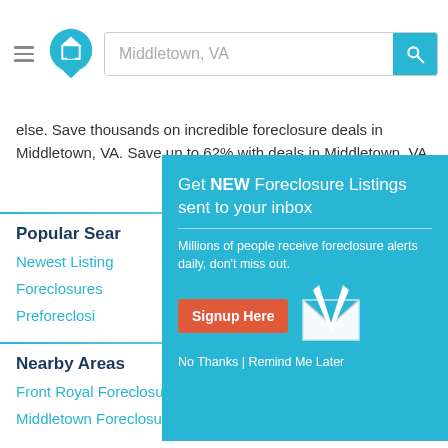[Figure (screenshot): Website header with hamburger menu, home logo icon, search bar with placeholder 'Middletown, VA', and teal search button with magnifying glass icon]
else. Save thousands on incredible foreclosure deals in Middletown, VA. Save up to 62% with deals in Middletown, VA.
Popular Sear…
Newest Listing…
Foreclosures…
Preforeclosity…
Nearby Areas…
Front Royal Foreclosures
Middletown Foreclosures
[Figure (screenshot): Modal popup overlay on teal background: title 'Get NEW Foreclosure Listings sent to your inbox', subtitle 'Millions of people receive foreclosure alerts daily, don't miss out.', red 'Signup Here' button, envelope icon, and 'No Thanks | Remind Me Later' footer link]